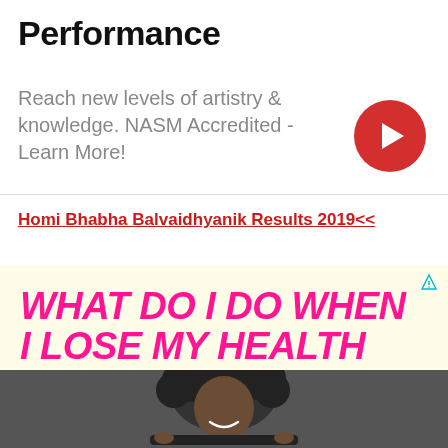Performance
Reach new levels of artistry & knowledge. NASM Accredited - Learn More!
[Figure (illustration): Red circle button with white right-pointing chevron arrow]
Homi Bhabha Balvaidhyanik Results 2019<<
[Figure (infographic): Advertisement banner with yellow background and hot pink bold italic text reading WHAT DO I DO WHEN I LOSE MY HEALTH PLAN? with a photo of a person with curly hair holding a skateboard below]
[Figure (photo): Photo of a smiling person with curly hair holding a skateboard, black and white tones]